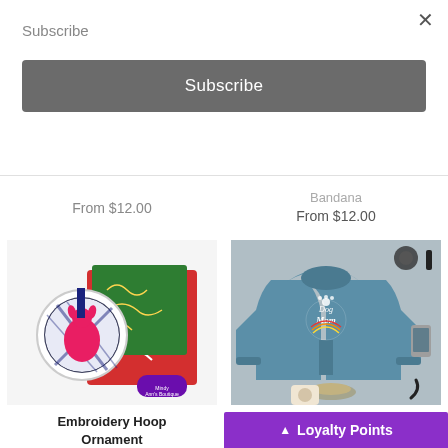Subscribe
Subscribe
×
From $12.00
Bandana
From $12.00
[Figure (photo): Embroidery hoop ornament with plaid dog design and fabric bundles]
Embroidery Hoop Ornament
[Figure (photo): Retro Dog Mom blue hoodie with paw print graphic, headphones and sneakers around it]
Retro Dog Mom Hoodie
▲ Loyalty Points